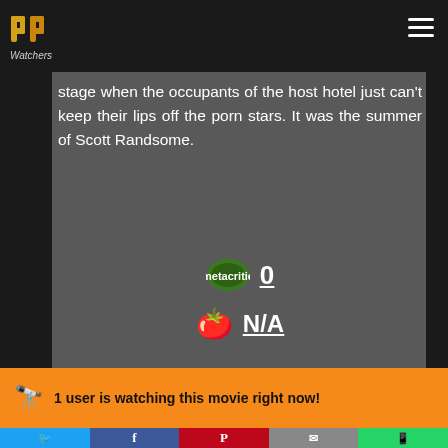[Figure (logo): PP Watchers logo with orange double-P icon and italic text 'Watchers' below]
stage when the occupants of the host hotel just can't keep their lips off the porn stars. It was the summer of Scott Randsome.
[Figure (infographic): Green oval icon (Metacritic-style) with score 0 underlined]
[Figure (infographic): Tomato emoji icon with N/A underlined (Rotten Tomatoes style)]
1 user is watching this movie right now!
[Figure (infographic): Social sharing bar with Twitter, Facebook, Pinterest, Email, WhatsApp buttons]